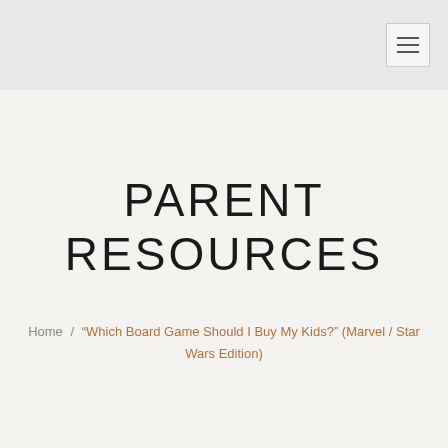PARENT RESOURCES
Home / “Which Board Game Should I Buy My Kids?” (Marvel / Star Wars Edition)